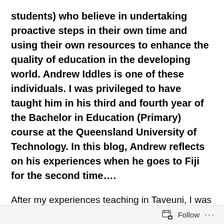students) who believe in undertaking proactive steps in their own time and using their own resources to enhance the quality of education in the developing world. Andrew Iddles is one of these individuals. I was privileged to have taught him in his third and fourth year of the Bachelor in Education (Primary) course at the Queensland University of Technology. In this blog, Andrew reflects on his experiences when he goes to Fiji for the second time….
After my experiences teaching in Taveuni, I was very keen to go back to Fiji on a similar project. Shortly after returning, I applied for the Mary and Carl Leonard International Relations Award, a scholarship made available for QUT students, through the generosity of Mary
Follow ···